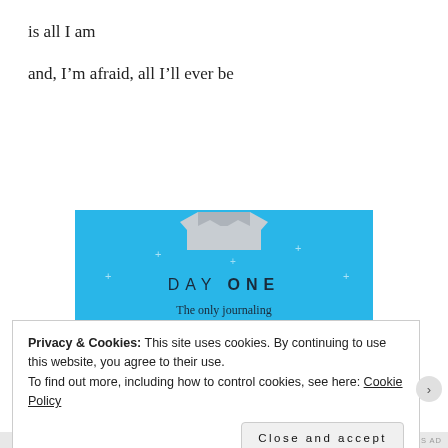is all I am
and, I'm afraid, all I'll ever be
[Figure (illustration): Day One journaling app advertisement. Blue background with a t-shirt icon at the top, text 'DAY ONE' in spaced letters, subtitle 'The only journaling app you'll ever need.' with a dark button below, and decorative plus/star dots scattered around.]
Privacy & Cookies: This site uses cookies. By continuing to use this website, you agree to their use.
To find out more, including how to control cookies, see here: Cookie Policy
Close and accept
ABOUT THIS AD